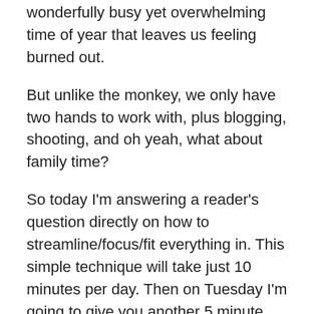wonderfully busy yet overwhelming time of year that leaves us feeling burned out.
But unlike the monkey, we only have two hands to work with, plus blogging, shooting, and oh yeah, what about family time?
So today I'm answering a reader's question directly on how to streamline/focus/fit everything in. This simple technique will take just 10 minutes per day. Then on Tuesday I'm going to give you another 5 minute quickie including the EXACT technique I use to save at least 2 hours per week.
Neither of these take much time, or cost any money.
So today I want to share with you how to get S*it done when you're starved for time.